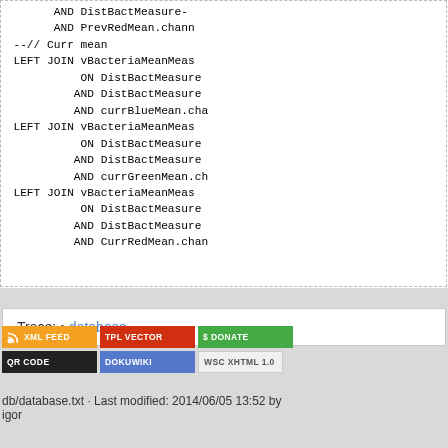[Figure (screenshot): Code block showing SQL query fragment with LEFT JOIN statements referencing vBacteriaMeanMeas, DistBactMeasurement, currBlueMean, currGreenMean, CurrRedMean tables/aliases, with dashed border]
Trace: • database
db/database.txt · Last modified: 2014/06/05 13:52 by igor
[Figure (other): Footer badges: RSS XML FEED, TPL VECTOR, $ DONATE, QR CODE, DOKUWIKI, WSC XHTML 1.0]